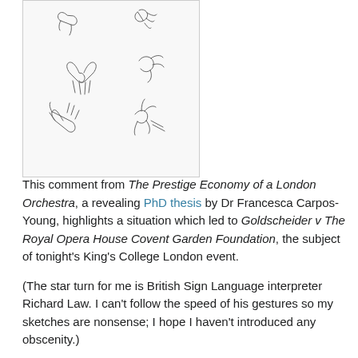[Figure (illustration): Pencil sketches of hands in various gestures, arranged loosely across the image area — multiple hand positions suggesting sign language gestures.]
This comment from The Prestige Economy of a London Orchestra, a revealing PhD thesis by Dr Francesca Carpos-Young, highlights a situation which led to Goldscheider v The Royal Opera House Covent Garden Foundation, the subject of tonight's King's College London event.

(The star turn for me is British Sign Language interpreter Richard Law. I can't follow the speed of his gestures so my sketches are nonsense; I hope I haven't introduced any obscenity.)

Chris Goldscheider, a viola player with the Orchestra of the